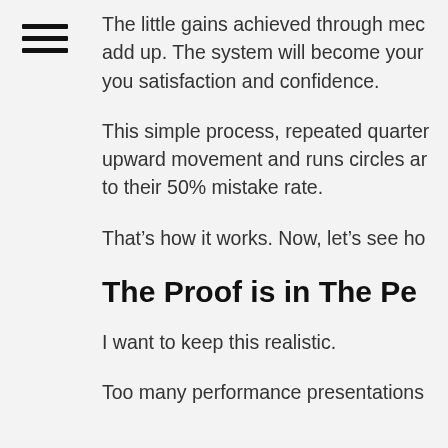[Figure (other): Hamburger menu icon with three horizontal lines]
The little gains achieved through mec add up. The system will become your you satisfaction and confidence.
This simple process, repeated quarter upward movement and runs circles ar to their 50% mistake rate.
That’s how it works. Now, let’s see ho
The Proof is in The Pe
I want to keep this realistic.
Too many performance presentations